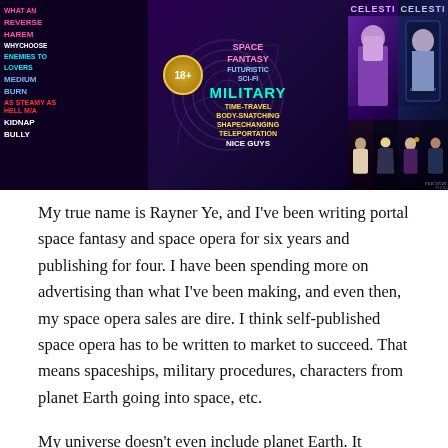[Figure (illustration): A promotional book banner image for space fantasy/science fiction books by Rayner Ye. The banner shows genre tags (Space Fantasy, Military, Time-Travel, Body-Snatching, Shapechanging, Teleportation, Nice Guys, Reverse Harem, WhyChoose, Enemies to Lovers, Medium Burn, As Steamy as Hell, Kidnap, Bully) in various neon colors on a dark purple background with a spiral design and an 18+ badge. Book covers titled 'CELESTI' and 'RIVER STAR' are visible on the right side, with sci-fi female figures.]
My true name is Rayner Ye, and I've been writing portal space fantasy and space opera for six years and publishing for four. I have been spending more on advertising than what I've been making, and even then, my space opera sales are dire. I think self-published space opera has to be written to market to succeed. That means spaceships, military procedures, characters from planet Earth going into space, etc.
My universe doesn't even include planet Earth. It comprises seven solar systems. Its like magic realism, though what's real for the citizens of the Plan8 Alliance is